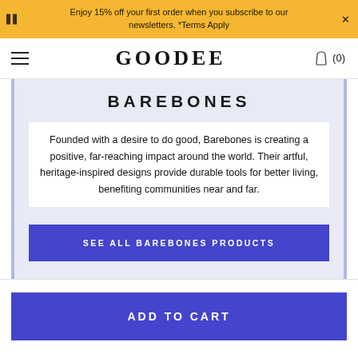Enjoy 15% off your first order when you subscribe to our newsletters. *Terms Apply
[Figure (logo): GOODEE logo with hamburger menu on left and cart icon on right showing (0) items]
BAREBONES
Founded with a desire to do good, Barebones is creating a positive, far-reaching impact around the world. Their artful, heritage-inspired designs provide durable tools for better living, benefiting communities near and far.
SEE ALL BAREBONES PRODUCTS
ADD TO CART